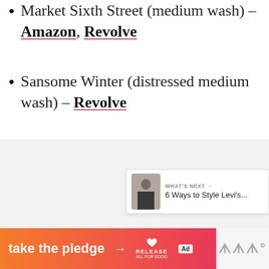Market Sixth Street (medium wash) – Amazon, Revolve
Sansome Winter (distressed medium wash) – Revolve
[Figure (other): Embedded image/widget area with light gray background, social interaction buttons (heart, count 4, share), and a 'What's Next' preview card showing '6 Ways to Style Levi's...']
[Figure (infographic): Ad banner: orange-to-pink gradient with text 'take the pledge', arrow, RELEASE logo with heart icon, ad badge, and gray area with 'WW' logo on right]